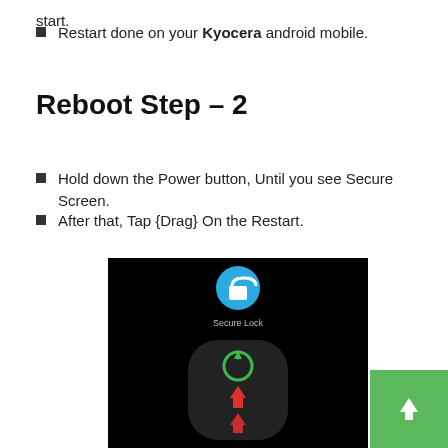start.
Restart done on your Kyocera android mobile.
Reboot Step – 2
Hold down the Power button, Until you see Secure Screen.
After that, Tap {Drag} On the Restart.
[Figure (screenshot): Android phone screenshot showing Secure Lock screen with a blue lock icon at top, labeled 'Secure Lock', and below a dark rounded panel with a green circular restart icon, a red upward arrow, and another red upward arrow at the bottom.]